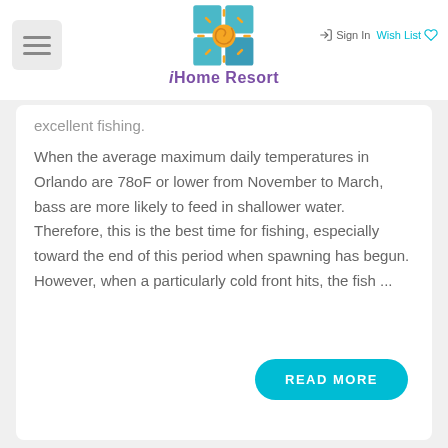iHome Resort
excellent fishing.
When the average maximum daily temperatures in Orlando are 78oF or lower from November to March, bass are more likely to feed in shallower water. Therefore, this is the best time for fishing, especially toward the end of this period when spawning has begun. However, when a particularly cold front hits, the fish ...
READ MORE